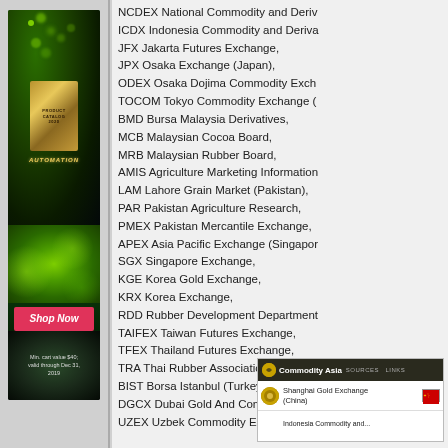[Figure (screenshot): Advertisement for automation products with 'Shop Now' button. Min. cart value $40; valid through Dec 31, 2019]
NCDEX National Commodity and Deri...
ICDX Indonesia Commodity and Deri...
JFX Jakarta Futures Exchange,
JPX Osaka Exchange (Japan),
ODEX Osaka Dojima Commodity Exch...
TOCOM Tokyo Commodity Exchange (...
BMD Bursa Malaysia Derivatives,
MCB Malaysian Cocoa Board,
MRB Malaysian Rubber Board,
AMIS Agriculture Marketing Information...
LAM Lahore Grain Market (Pakistan),
PAR Pakistan Agriculture Research,
PMEX Pakistan Mercantile Exchange,
APEX Asia Pacific Exchange (Singapor...
SGX Singapore Exchange,
KGE Korea Gold Exchange,
KRX Korea Exchange,
RDD Rubber Development Department...
TAIFEX Taiwan Futures Exchange,
TFEX Thailand Futures Exchange,
TRA Thai Rubber Association,
BIST Borsa Istanbul (Turkey),
DGCX Dubai Gold And Commodities E...
UZEX Uzbek Commodity Exchange.
[Figure (screenshot): Commodity Asia website screenshot showing Shanghai Gold Exchange (China) and Indonesia Commodity and... entries with SOURCES and LINKS navigation]